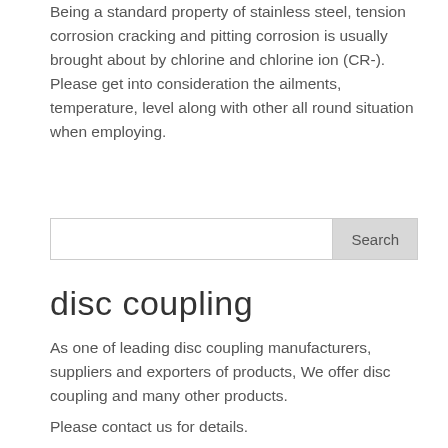caution. Being a standard property of stainless steel, tension corrosion cracking and pitting corrosion is usually brought about by chlorine and chlorine ion (CR-). Please get into consideration the ailments, temperature, level along with other all round situation when employing.
Search
disc coupling
As one of leading disc coupling manufacturers, suppliers and exporters of products, We offer disc coupling and many other products.
Please contact us for details.